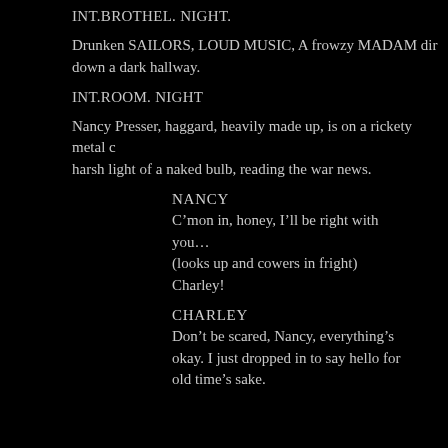INT.BROTHEL. NIGHT.
Drunken SAILORS, LOUD MUSIC, A frowzy MADAM dir... down a dark hallway.
INT.ROOM. NIGHT
Nancy Presser, haggard, heavily made up, is on a rickety metal... harsh light of a naked bulb, reading the war news.
NANCY
C’mon in, honey, I’ll be right with you… (looks up and cowers in fright) Charley!
CHARLEY
Don’t be scared, Nancy, everything’s okay. I just dropped in to say hello for old time’s sake.